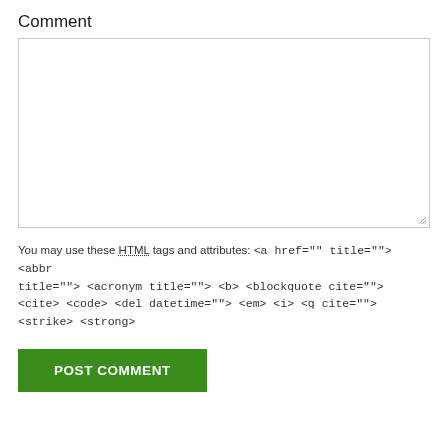Comment
[Figure (screenshot): A large blank textarea input box for entering a comment, with a resize handle in the bottom-right corner.]
You may use these HTML tags and attributes: <a href="" title=""> <abbr title=""> <acronym title=""> <b> <blockquote cite=""> <cite> <code> <del datetime=""> <em> <i> <q cite=""> <strike> <strong>
POST COMMENT